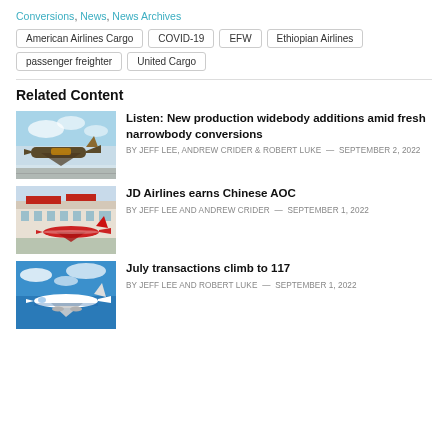Conversions, News, News Archives
American Airlines Cargo
COVID-19
EFW
Ethiopian Airlines
passenger freighter
United Cargo
Related Content
[Figure (photo): UPS cargo aircraft on tarmac]
Listen: New production widebody additions amid fresh narrowbody conversions
BY JEFF LEE, ANDREW CRIDER & ROBERT LUKE — SEPTEMBER 2, 2022
[Figure (photo): Red airline aircraft at Chinese airport terminal]
JD Airlines earns Chinese AOC
BY JEFF LEE AND ANDREW CRIDER — SEPTEMBER 1, 2022
[Figure (photo): White aircraft flying against blue sky]
July transactions climb to 117
BY JEFF LEE AND ROBERT LUKE — SEPTEMBER 1, 2022